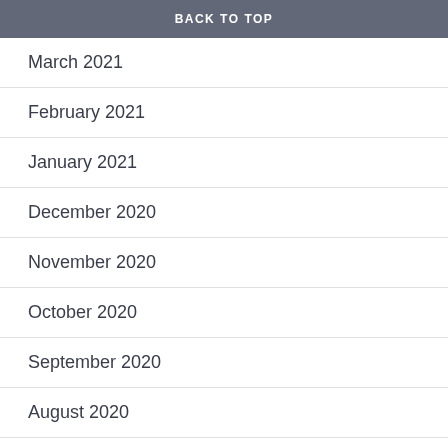BACK TO TOP
March 2021
February 2021
January 2021
December 2020
November 2020
October 2020
September 2020
August 2020
June 2020